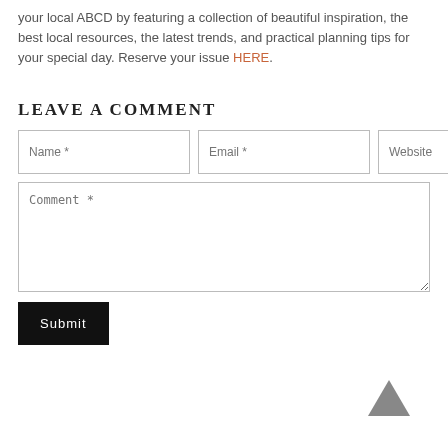your local ABCD by featuring a collection of beautiful inspiration, the best local resources, the latest trends, and practical planning tips for your special day. Reserve your issue HERE.
LEAVE A COMMENT
Name * | Email * | Website (form fields)
Comment * (textarea)
Submit (button)